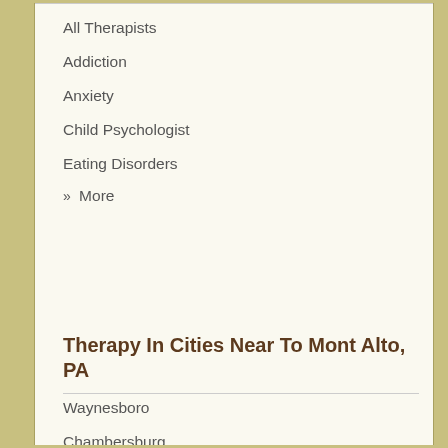All Therapists
Addiction
Anxiety
Child Psychologist
Eating Disorders
» More
Therapy In Cities Near To Mont Alto, PA
Waynesboro
Chambersburg